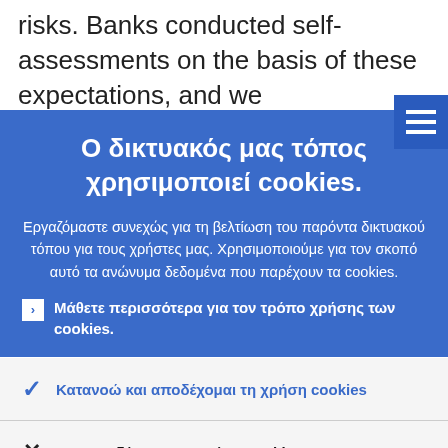risks. Banks conducted self-assessments on the basis of these expectations, and we
Ο δικτυακός μας τόπος χρησιμοποιεί cookies.
Εργαζόμαστε συνεχώς για τη βελτίωση του παρόντα δικτυακού τόπου για τους χρήστες μας. Χρησιμοποιούμε για τον σκοπό αυτό τα ανώνυμα δεδομένα που παρέχουν τα cookies.
Μάθετε περισσότερα για τον τρόπο χρήσης των cookies.
Κατανοώ και αποδέχομαι τη χρήση cookies
Δεν αποδέχομαι τη χρήση cookies